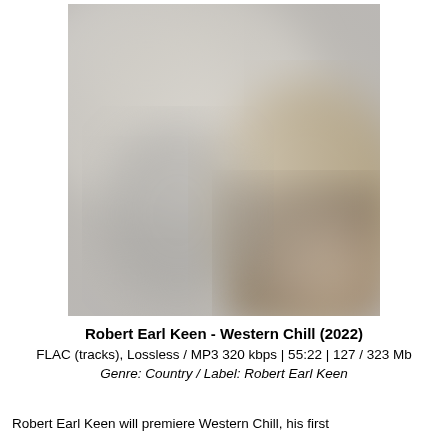[Figure (photo): Blurred album art image with muted grays and warm golden-brown tones in lower right, appears to be an indoor or outdoor scene out of focus]
Robert Earl Keen - Western Chill (2022)
FLAC (tracks), Lossless / MP3 320 kbps | 55:22 | 127 / 323 Mb
Genre: Country / Label: Robert Earl Keen
Robert Earl Keen will premiere Western Chill, his first